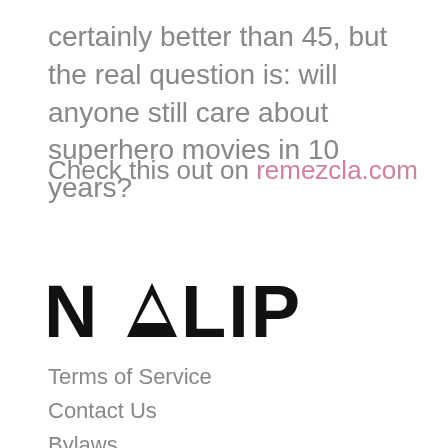certainly better than 45, but the real question is: will anyone still care about superhero movies in 10 years?
Check this out on remezcla.com
[Figure (logo): NALIP logo with stylized triangle as the letter A]
Terms of Service
Contact Us
Bylaws
FAQs